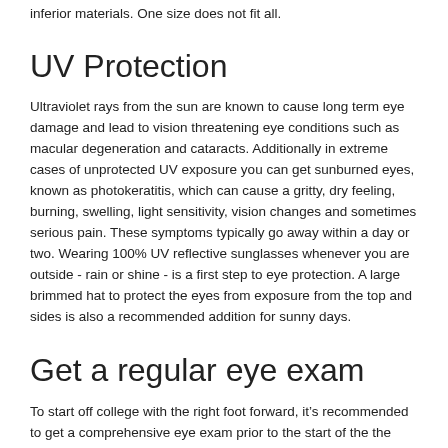inferior materials. One size does not fit all.
UV Protection
Ultraviolet rays from the sun are known to cause long term eye damage and lead to vision threatening eye conditions such as macular degeneration and cataracts. Additionally in extreme cases of unprotected UV exposure you can get sunburned eyes, known as photokeratitis, which can cause a gritty, dry feeling, burning, swelling, light sensitivity, vision changes and sometimes serious pain. These symptoms typically go away within a day or two. Wearing 100% UV reflective sunglasses whenever you are outside - rain or shine - is a first step to eye protection. A large brimmed hat to protect the eyes from exposure from the top and sides is also a recommended addition for sunny days.
Get a regular eye exam
To start off college with the right foot forward, it’s recommended to get a comprehensive eye exam prior to the start of the the school year, especially if you haven’t had one recently. This way